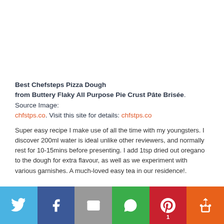Best Chefsteps Pizza Dough from Buttery Flaky All Purpose Pie Crust Pâte Brisée. Source Image: chfstps.co. Visit this site for details: chfstps.co
Super easy recipe I make use of all the time with my youngsters. I discover 200ml water is ideal unlike other reviewers, and normally rest for 10-15mins before presenting. I add 1tsp dried out oregano to the dough for extra flavour, as well as we experiment with various garnishes. A much-loved easy tea in our residence!.
[Figure (infographic): Social media sharing bar with 6 buttons: Twitter (blue), Facebook (dark blue), Email (grey), WhatsApp (green), Pinterest (red, with badge showing 1), More (orange). Each button has a white icon.]